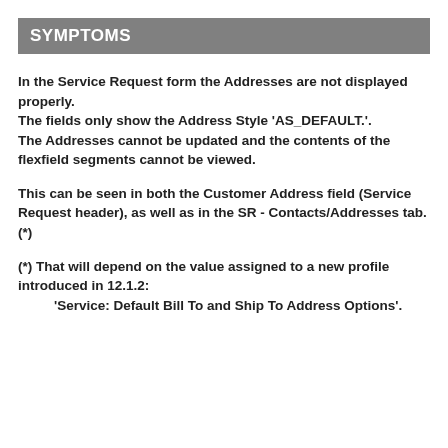SYMPTOMS
In the Service Request form the Addresses are not displayed properly.
The fields only show the Address Style 'AS_DEFAULT.'.
The Addresses cannot be updated and the contents of the flexfield segments cannot be viewed.
This can be seen in both the Customer Address field (Service Request header), as well as in the SR - Contacts/Addresses tab. (*)
(*) That will depend on the value assigned to a new profile introduced in 12.1.2:
    'Service: Default Bill To and Ship To Address Options'.